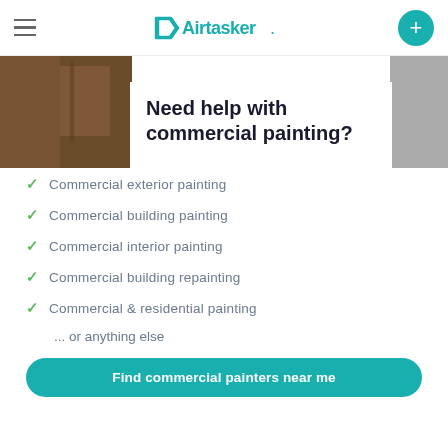Airtasker
Need help with commercial painting?
Commercial exterior painting
Commercial building painting
Commercial interior painting
Commercial building repainting
Commercial & residential painting
... or anything else
Find commercial painters near me